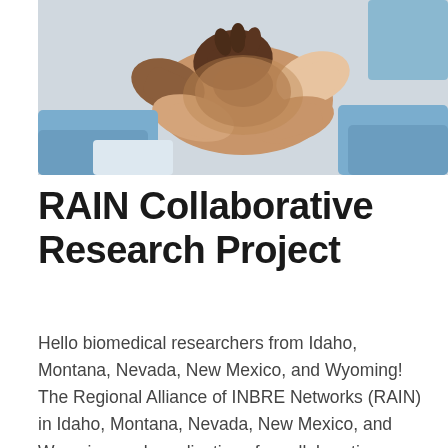[Figure (photo): Overhead photo of multiple diverse hands stacked together in a team gesture, wearing light blue and white sleeves, against a light grey background.]
RAIN Collaborative Research Project
Hello biomedical researchers from Idaho, Montana, Nevada, New Mexico, and Wyoming! The Regional Alliance of INBRE Networks (RAIN) in Idaho, Montana, Nevada, New Mexico, and Wyoming seek applications for collaborative projects that take advantage of complimentary expertise across state lines...